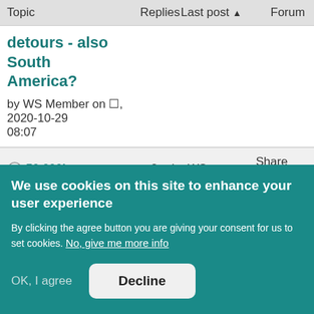| Topic | Replies | Last post | Forum |
| --- | --- | --- | --- |
| detours - also South America?
by WS Member on N, 2020-10-29 08:07 |  |  |  |
| 50.000km - | 2 | by WS | Share Your |
We use cookies on this site to enhance your user experience
By clicking the agree button you are giving your consent for us to set cookies. No, give me more info
OK, I agree
Decline